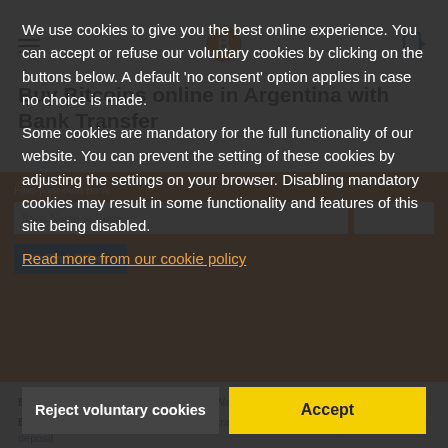Buy Bitcoins online in Argentina with Bank Transfer
We use cookies to give you the best online experience. You can accept or refuse our voluntary cookies by clicking on the buttons below. A default 'no consent' option applies in case no choice is made.

Some cookies are mandatory for the full functionality of our website. You can prevent the setting of these cookies by adjusting the settings on your browser. Disabling mandatory cookies may result in some functionality and features of this site being disabled.
Read more from our cookie policy
Reject voluntary cookies
Accept
Browse Offers: Bank Transfers, Online Wallets, Other Payments
Browse Bank Transfers: National bank transfer, Transfers with specific bank, Cash deposit